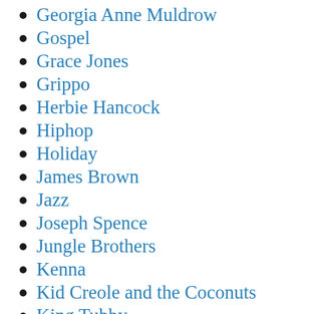Georgia Anne Muldrow
Gospel
Grace Jones
Grippo
Herbie Hancock
Hiphop
Holiday
James Brown
Jazz
Joseph Spence
Jungle Brothers
Kenna
Kid Creole and the Coconuts
King Tubby
Konono N°1
Kora